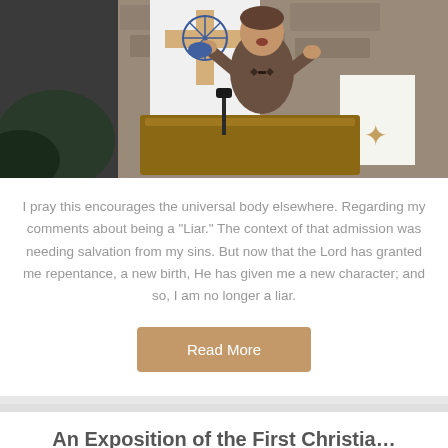[Figure (photo): A man in a brown suit jacket stands at a wooden pulpit/lectern in a church, gesturing with both hands raised. Behind him is a white banner with a decorative cross and blue floral design. The background shows a stone wall. There is a microphone on a stand attached to the pulpit.]
I pray this encourages the universal body elsewhere. Regarding my comments about being a "Liar." The context of that admission was needing salvation from my sins. But now that the Lord has granted me repentance, a new birth, He has given me a new character; and so, I am no longer a liar.
Read More
An Exposition of the First Christia...